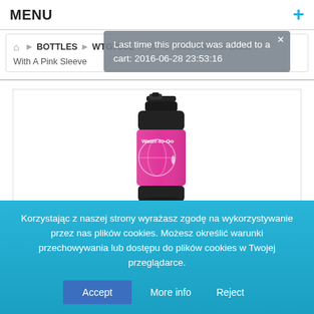MENU
Last time this product was added to a cart: 2016-06-28 23:53:16
🏠 BOTTLES WTG75CL WTG 75CL Bottle In Black With A Pink Sleeve
[Figure (photo): A Water-to-Go branded water bottle with black cap and pink/magenta sleeve featuring a globe and water drop logo.]
Korzystając z naszej strony wyrażasz zgodę na wykorzystywanie przez nas plików cookies. Możesz określić warunki przechowywania lub dostępu do plików cookies w Twojej przeglądarce.